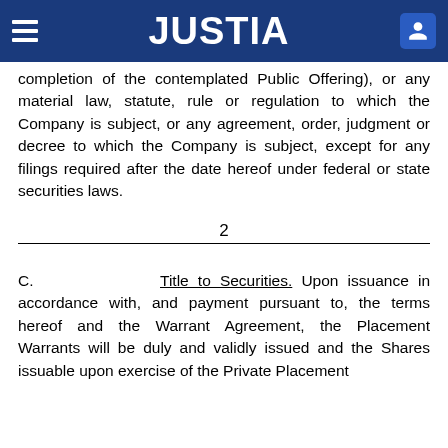JUSTIA
completion of the contemplated Public Offering), or any material law, statute, rule or regulation to which the Company is subject, or any agreement, order, judgment or decree to which the Company is subject, except for any filings required after the date hereof under federal or state securities laws.
2
C. Title to Securities. Upon issuance in accordance with, and payment pursuant to, the terms hereof and the Warrant Agreement, the Placement Warrants will be duly and validly issued and the Shares issuable upon exercise of the Private Placement